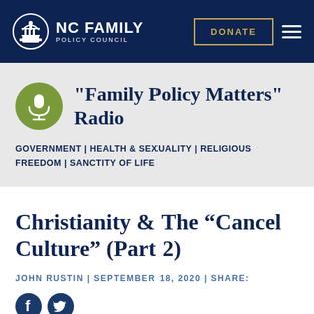NC FAMILY POLICY COUNCIL | DONATE
"Family Policy Matters" Radio
GOVERNMENT | HEALTH & SEXUALITY | RELIGIOUS FREEDOM | SANCTITY OF LIFE
Christianity & The “Cancel Culture” (Part 2)
JOHN RUSTIN | SEPTEMBER 18, 2020 | SHARE:
[Figure (other): Facebook and Twitter social share icons]